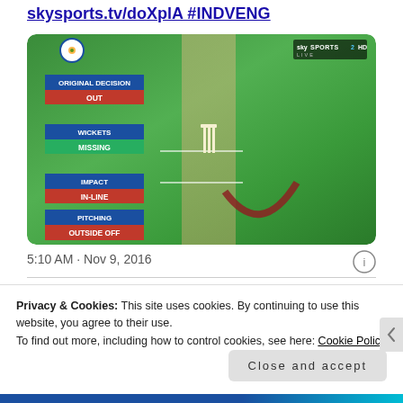skysports.tv/doXplA #INDVENG
[Figure (screenshot): Sky Sports 2 HD Live cricket DRS review screenshot showing batsman playing a shot with fielders, overlaid with DRS panels: ORIGINAL DECISION OUT, WICKETS MISSING, IMPACT IN-LINE, PITCHING OUTSIDE OFF]
5:10 AM · Nov 9, 2016
Privacy & Cookies: This site uses cookies. By continuing to use this website, you agree to their use.
To find out more, including how to control cookies, see here: Cookie Policy
Close and accept